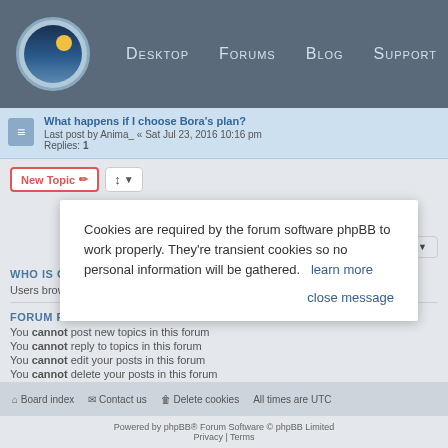Desktop  Forums  Blog  Support
What happens if I choose Bora's plan?
Last post by Anima_ « Sat Jul 23, 2016 10:16 pm
Replies: 1
New Topic  |  80 topics  1 2 3 4 >
Jump to
WHO IS ONLINE
Users browsing this fo...
FORUM PERMISSIONS
You cannot post new topics in this forum
You cannot reply to topics in this forum
You cannot edit your posts in this forum
You cannot delete your posts in this forum
Board index   Contact us   Delete cookies   All times are UTC
Powered by phpBB® Forum Software © phpBB Limited
Privacy | Terms
Cookies are required by the forum software phpBB to work properly. They're transient cookies so no personal information will be gathered.   learn more

close message